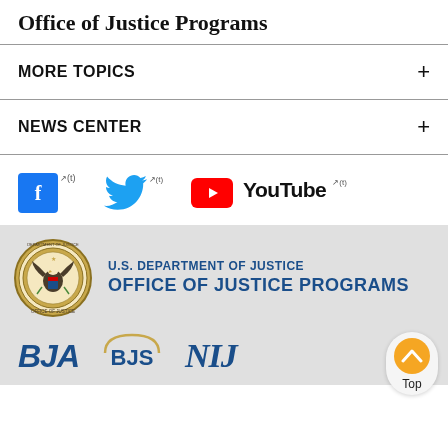Office of Justice Programs
MORE TOPICS
NEWS CENTER
[Figure (logo): Social media icons: Facebook, Twitter, YouTube]
[Figure (logo): U.S. Department of Justice seal and Office of Justice Programs logo]
[Figure (logo): BJA, BJS, and NIJ logos in footer]